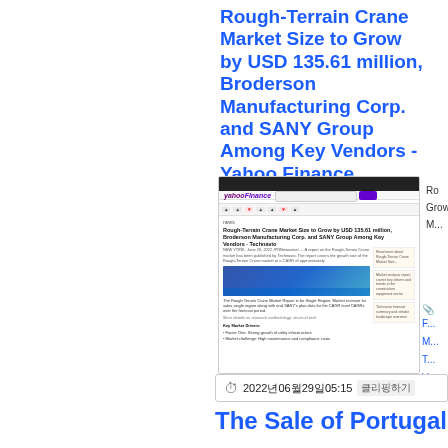Rough-Terrain Crane Market Size to Grow by USD 135.61 million, Broderson Manufacturing Corp. and SANY Group Among Key Vendors - Yahoo Finance
[Figure (screenshot): Screenshot of Yahoo Finance article about Rough-Terrain Crane Market Size growth]
Rough-Terrain Crane Market Size to Grow by USD 135.61 million, Broderson Manufacturing Corp. and SANY Group Among Key Vendors - Technavio
F...
M...
T...
V...
2022年06月29日05:15 클리핑하기
The Sale of Portugal